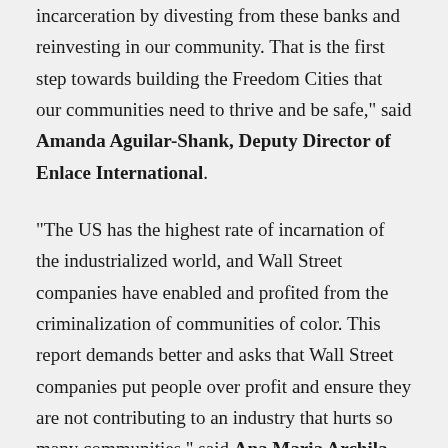incarceration by divesting from these banks and reinvesting in our community. That is the first step towards building the Freedom Cities that our communities need to thrive and be safe," said Amanda Aguilar-Shank, Deputy Director of Enlace International.
“The US has the highest rate of incarnation of the industrialized world, and Wall Street companies have enabled and profited from the criminalization of communities of color. This report demands better and asks that Wall Street companies put people over profit and ensure they are not contributing to an industry that hurts so many communities,” said Ana Maria Archila, Co-Executive Director of the Center for Popular